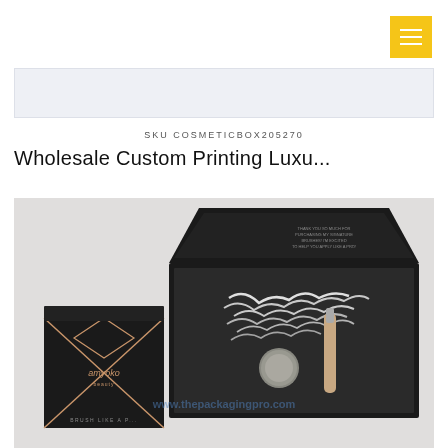[Figure (screenshot): Yellow hamburger menu button in top right corner]
[Figure (photo): Light blue/white banner placeholder area]
SKU COSMETICBOX205270
Wholesale Custom Printing Luxu...
[Figure (photo): Product photo of black luxury cosmetic boxes with rose gold geometric design labeled 'amyoko beauty', one open showing white shredded paper filler and cosmetic brush inside, with watermark www.thepackagingpro.com]